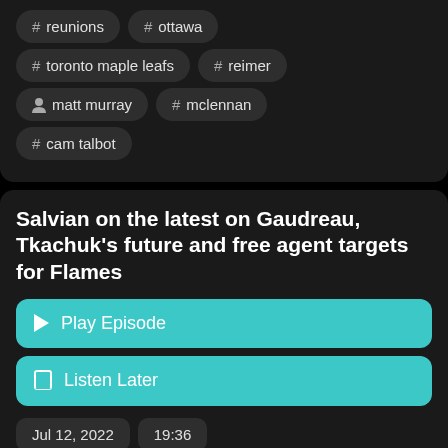# reunions
# ottawa
# toronto maple leafs
# reimer
person matt murray
# mclennan
# cam talbot
Salvian on the latest on Gaudreau, Tkachuk's future and free agent targets for Flames
Play Episode
Listen Later
Jul 12, 2022
19:36